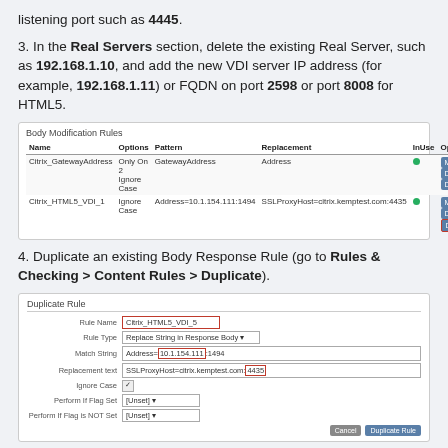listening port such as 4445.
3. In the Real Servers section, delete the existing Real Server, such as 192.168.1.10, and add the new VDI server IP address (for example, 192.168.1.11) or FQDN on port 2598 or port 8008 for HTML5.
[Figure (screenshot): Body Modification Rules table showing two rules: Citrix_GatewayAddress (Only On 2, Ignore Case, GatewayAddress, Address, with Modify/Delete/Duplicate buttons) and Citrix_HTML5_VDI_1 (Ignore Case, Address=10.1.154.111:1494, SSLProxyHost=citrix.kemptest.com:4435, with Modify/Delete/Duplicate buttons, Duplicate highlighted in red border)]
4. Duplicate an existing Body Response Rule (go to Rules & Checking > Content Rules > Duplicate).
[Figure (screenshot): Duplicate Rule form with fields: Rule Name (Citrix_HTML5_VDI_5, red border), Rule Type (Replace String in Response Body), Match String (Address=10.1.154.111:1494, with 10.1.154.111 highlighted in red), Replacement text (SSLProxyHost=citrix.kemptest.com:4435, with 4435 highlighted in red), Ignore Case (checked), Perform If Flag Set (Unset), Perform If Flag is NOT Set (Unset), with Cancel and Duplicate Rule buttons]